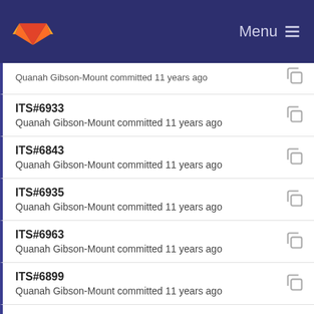GitLab — Menu
ITS#6933
Quanah Gibson-Mount committed 11 years ago
ITS#6843
Quanah Gibson-Mount committed 11 years ago
ITS#6935
Quanah Gibson-Mount committed 11 years ago
ITS#6963
Quanah Gibson-Mount committed 11 years ago
ITS#6899
Quanah Gibson-Mount committed 11 years ago
ITS#6815
Quanah Gibson-Mount committed 11 years ago
ITS#6967
Quanah Gibson-Mount committed 11 years ago
ITS#6944